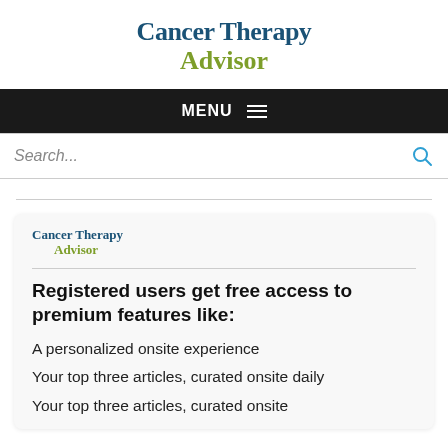Cancer Therapy Advisor
MENU
Search...
[Figure (logo): Cancer Therapy Advisor logo (small, inside card)]
Registered users get free access to premium features like:
A personalized onsite experience
Your top three articles, curated onsite daily
Your top three articles, curated onsite